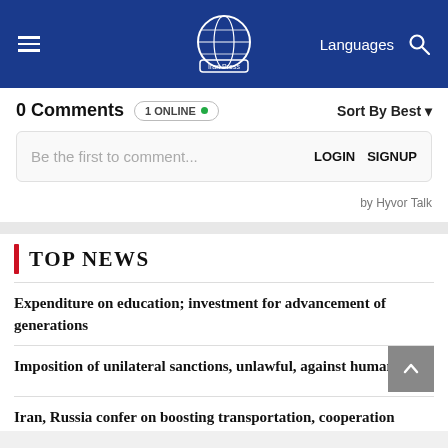Iran Press — Languages
0 Comments  1 ONLINE  Sort By Best
Be the first to comment...  LOGIN  SIGNUP
by Hyvor Talk
TOP NEWS
Expenditure on education; investment for advancement of generations
Imposition of unilateral sanctions, unlawful, against human
Iran, Russia confer on boosting transportation, cooperation